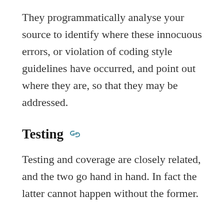They programmatically analyse your source to identify where these innocuous errors, or violation of coding style guidelines have occurred, and point out where they are, so that they may be addressed.
Testing
Testing and coverage are closely related, and the two go hand in hand. In fact the latter cannot happen without the former.
Imagine that you are a school teacher, and you are creating a quiz or test for your